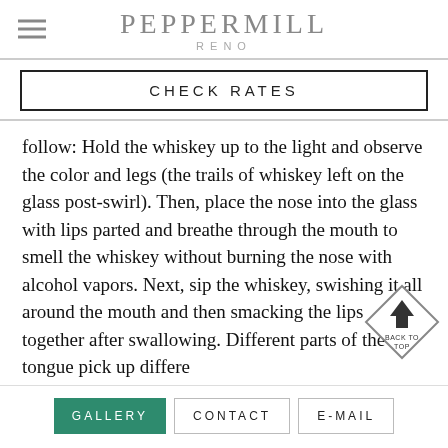PEPPERMILL RENO
CHECK RATES
follow: Hold the whiskey up to the light and observe the color and legs (the trails of whiskey left on the glass post-swirl). Then, place the nose into the glass with lips parted and breathe through the mouth to smell the whiskey without burning the nose with alcohol vapors. Next, sip the whiskey, swishing it all around the mouth and then smacking the lips together after swallowing. Different parts of the tongue pick up different flavors and sensations—sweetness on the tip...
GALLERY  CONTACT  E-MAIL